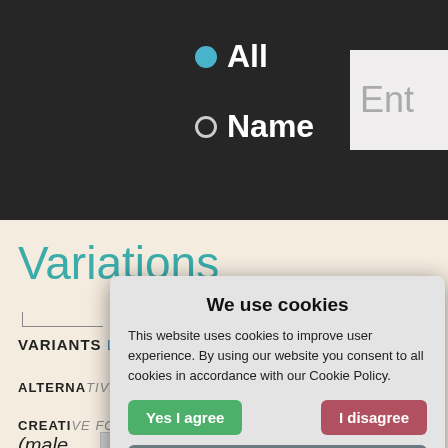[Figure (screenshot): Top navigation bar with dark wood texture background showing radio button options: filled blue 'All' and empty 'Name', with a text input box showing 'Ent' on the right]
Variations
VARIANTS Lyndsie, Lyndsay, Lindsy, Lind...
ALTERNATIVE FORMS VIA LINDSAY Lindesay, Lindisay, Li...
CREATIVE FORMS
(male) Show ▼
(female) Show ▼
[Figure (screenshot): Cookie consent dialog box with title 'We use cookies', body text explaining cookie usage, three buttons: 'Yes I agree' (green), 'I disagree' (red/pink), 'Read more' (gray), and footer text 'Free cookie consent by cookie-script.com']